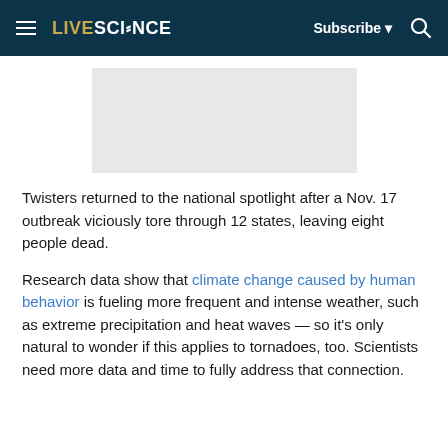LIVESCIENCE | Subscribe | Search
[Figure (other): Advertisement placeholder gray rectangle]
Twisters returned to the national spotlight after a Nov. 17 outbreak viciously tore through 12 states, leaving eight people dead.
Research data show that climate change caused by human behavior is fueling more frequent and intense weather, such as extreme precipitation and heat waves — so it's only natural to wonder if this applies to tornadoes, too. Scientists need more data and time to fully address that connection.